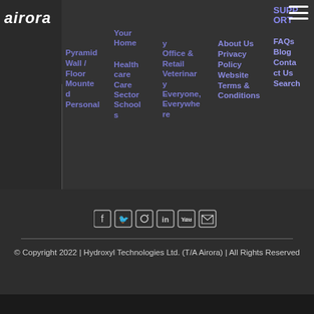[Figure (logo): Airora logo - white italic bold text on dark background]
Pyramid
Wall / Floor Mounted
Personal
Your Home
Healthcare
Care Sector
Schools
Office & Retail
Veterinary
Everyone, Everywhere
About Us
Privacy Policy
Website Terms & Conditions
SUPPORT
FAQs
Blog
Contact Us
Search
[Figure (infographic): Social media icons: Facebook, Twitter, Instagram, LinkedIn, YouTube, Email]
© Copyright 2022 | Hydroxyl Technologies Ltd.  (T/A Airora) | All Rights Reserved